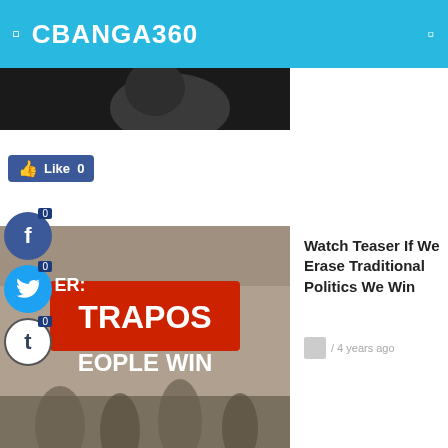CBANGA360
[Figure (screenshot): Partial face photo, dark background]
[Figure (screenshot): Crowd with TRAPOS sign, PEOPLE WIN text]
Watch Teaser If We Erase Traditional Politics We Win
/ 4 years ago
[Figure (screenshot): FLY HIGH WITH PA sign - Philippine Airlines]
Real Reasons I Fly High On Philippine Airlines
/ 4 years ago
[Figure (photo): Scenic view with mountains and structures]
Watch: This Is The P310-M Albay Pantao Regional Port Of Nothing